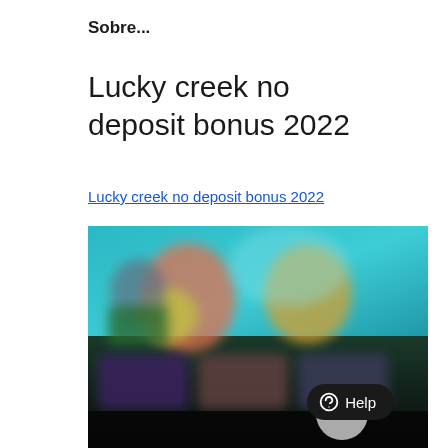Sobre...
Lucky creek no deposit bonus 2022
Lucky creek no deposit bonus 2022
[Figure (screenshot): A blurred screenshot of the Lucky Creek online casino website showing slot game thumbnails with character graphics on a teal/dark background, with a Help chat button in the bottom right corner.]